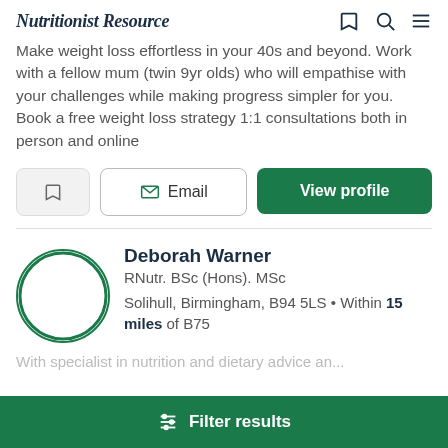Nutritionist Resource
Make weight loss effortless in your 40s and beyond. Work with a fellow mum (twin 9yr olds) who will empathise with your challenges while making progress simpler for you. Book a free weight loss strategy 1:1 consultations both in person and online
Email | View profile
Deborah Warner
RNutr. BSc (Hons). MSc
Solihull, Birmingham, B94 5LS • Within 15 miles of B75
Filter results